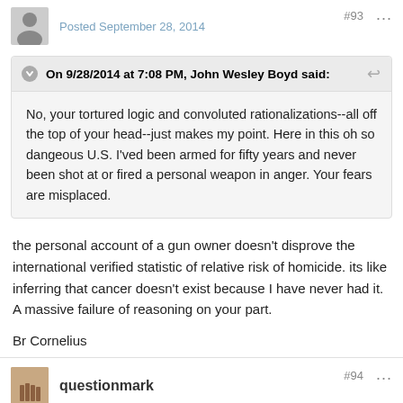Posted September 28, 2014 | #93
On 9/28/2014 at 7:08 PM, John Wesley Boyd said:
No, your tortured logic and convoluted rationalizations--all off the top of your head--just makes my point. Here in this oh so dangeous U.S. I'ved been armed for fifty years and never been shot at or fired a personal weapon in anger. Your fears are misplaced.
the personal account of a gun owner doesn't disprove the international verified statistic of relative risk of homicide. its like inferring that cancer doesn't exist because I have never had it. A massive failure of reasoning on your part.
Br Cornelius
questionmark | #94